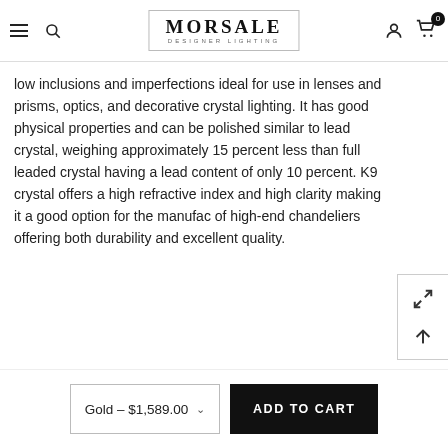MORSALE DESIGNER LIGHTING
low inclusions and imperfections ideal for use in lenses and prisms, optics, and decorative crystal lighting. It has good physical properties and can be polished similar to lead crystal, weighing approximately 15 percent less than full leaded crystal having a lead content of only 10 percent. K9 crystal offers a high refractive index and high clarity making it a good option for the manufacture of high-end chandeliers offering both durability and excellent quality.
Gold – $1,589.00
ADD TO CART